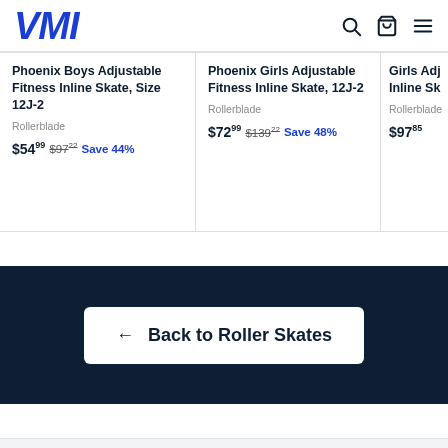VMI
Phoenix Boys Adjustable Fitness Inline Skate, Size 12J-2
Rollerblade
$54.99  $97.22  Save 44%
Phoenix Girls Adjustable Fitness Inline Skate, 12J-2
Rollerblade
$72.99  $139.22  Save 48%
Girls Adjustable Inline Sk...
Rollerblade
$97.85
← Back to Roller Skates
Home & Garden